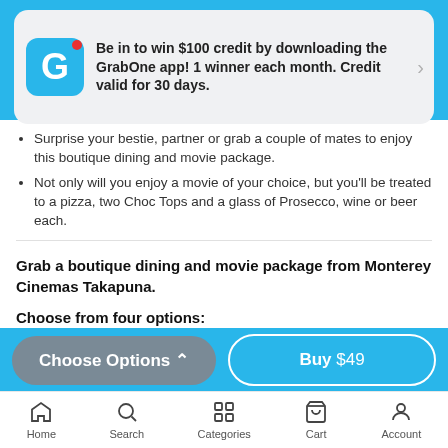[Figure (screenshot): GrabOne app promotional banner with blue G icon and red notification dot, text about winning $100 credit]
Surprise your bestie, partner or grab a couple of mates to enjoy this boutique dining and movie package.
Not only will you enjoy a movie of your choice, but you'll be treated to a pizza, two Choc Tops and a glass of Prosecco, wine or beer each.
Grab a boutique dining and movie package from Monterey Cinemas Takapuna.
Choose from four options:
$49 for two people
$98 for four people
$147 for six people
Choose Options ^ | Buy $49 | Home | Search | Categories | Cart | Account